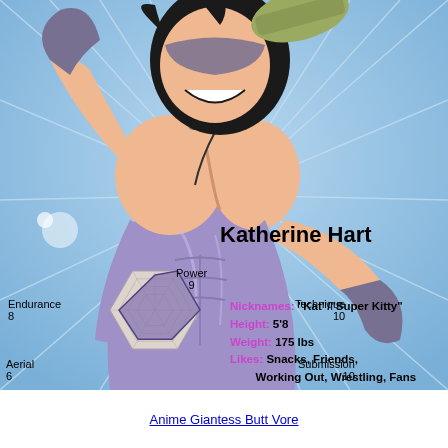[Figure (illustration): Anime-style illustration of Katherine Hart, a muscular female wrestler character in a purple outfit with gloves and mask, posed dynamically against a blue background. A radar/hexagon stats chart is overlaid on her midsection showing Power 9, Technique 10, Endurance 8, Aerial 6, Speed 7.5, Submission 10.]
Katherine Hart
Nicknames: "Kat"/"Super Kitty"
Height: 5'8
Weight: 175 lbs
Likes: Snacks, Friends, Working Out, Wrestling, Fans
Dislikes: Egotists, One-Trick Ponies
Power 9
Technique 10
Endurance 8
Submission 10
Aerial 6
Speed 7.5
Anime Giantess Butt Vore